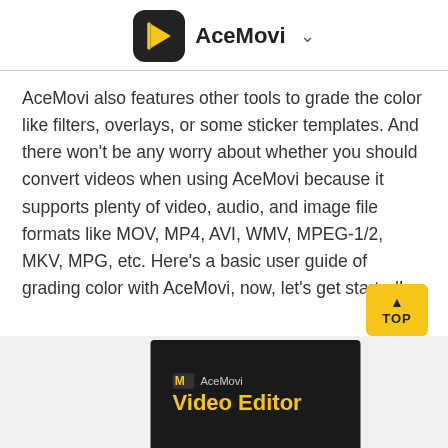AceMovi
AceMovi also features other tools to grade the color like filters, overlays, or some sticker templates. And there won't be any worry about whether you should convert videos when using AceMovi because it supports plenty of video, audio, and image file formats like MOV, MP4, AVI, WMV, MPEG-1/2, MKV, MPG, etc. Here's a basic user guide of grading color with AceMovi, now, let's get started!
[Figure (screenshot): AceMovi Video Editor product box image at the bottom of the page with a yellow 'TOP' scroll button]